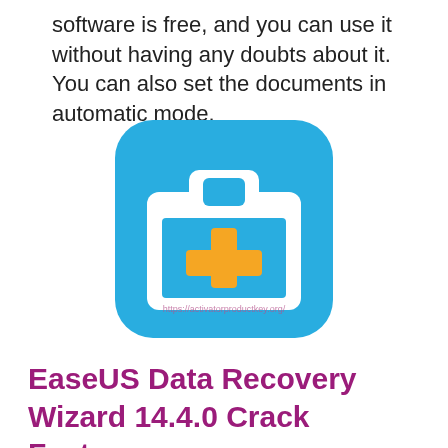software is free, and you can use it without having any doubts about it. You can also set the documents in automatic mode.
[Figure (logo): EaseUS Data Recovery Wizard logo: a blue rounded-square icon containing a white briefcase/toolbox shape with a yellow plus sign, with watermark URL https://activatorproductkey.org/]
EaseUS Data Recovery Wizard 14.4.0 Crack Features